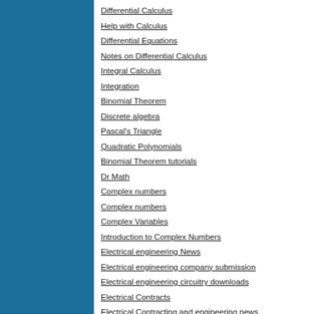Differential Calculus
Help with Calculus
Differential Equations
Notes on Differential Calculus
Integral Calculus
Integration
Binomial Theorem
Discrete algebra
Pascal's Triangle
Quadratic Polynomials
Binomial Theorem tutorials
Dr Math
Complex numbers
Complex numbers
Complex Variables
Introduction to Complex Numbers
Electrical engineering News
Electrical engineering company submission
Electrical engineering circuitry downloads
Electrical Contracts
Electrical Contracting and engineering news